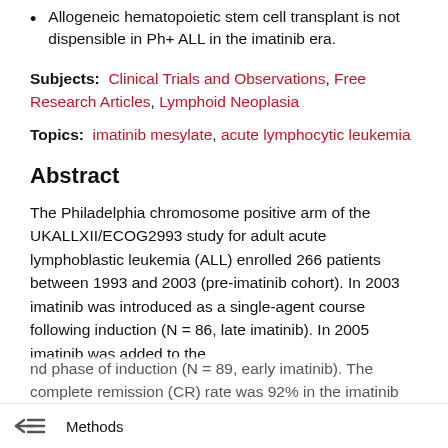Allogeneic hematopoietic stem cell transplant is not dispensible in Ph+ ALL in the imatinib era.
Subjects: Clinical Trials and Observations, Free Research Articles, Lymphoid Neoplasia
Topics: imatinib mesylate, acute lymphocytic leukemia
Abstract
The Philadelphia chromosome positive arm of the UKALLXII/ECOG2993 study for adult acute lymphoblastic leukemia (ALL) enrolled 266 patients between 1993 and 2003 (pre-imatinib cohort). In 2003 imatinib was introduced as a single-agent course following induction (N = 86, late imatinib). In 2005 imatinib was added to the
nd phase of induction (N = 89, early imatinib). The complete remission (CR) rate was 92% in the imatinib
Methods